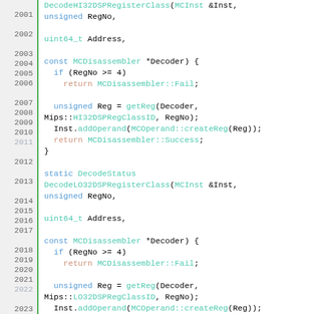[Figure (screenshot): Source code viewer showing C++ function definitions for DecodeHI32DSPRegisterClass, DecodeLO32DSPRegisterClass, and beginning of DecodeMSA128BRegisterClass, with line numbers 2001-2023 on the left, green vertical bar separator, syntax highlighting in blue, teal, and orange on white background.]